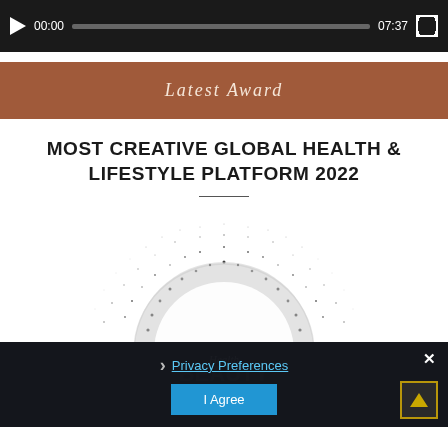[Figure (screenshot): Video player bar showing play button, 00:00 timestamp, progress bar, 07:37 end time, and fullscreen button on dark background]
Latest Award
MOST CREATIVE GLOBAL HEALTH & LIFESTYLE PLATFORM 2022
[Figure (illustration): Particle/dot art forming a semicircular arc shape, black dots dispersing upward on white background, with Health Beauty & Wellness award logo below on dark background]
Privacy Preferences
I Agree